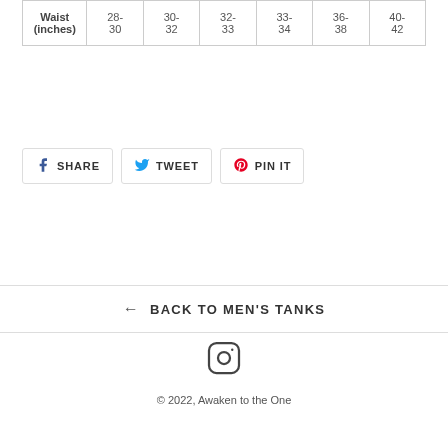| Waist (inches) | 28-30 | 30-32 | 32-33 | 33-34 | 36-38 | 40-42 |
SHARE  TWEET  PIN IT
← BACK TO MEN'S TANKS
[Figure (logo): Instagram logo icon]
© 2022, Awaken to the One